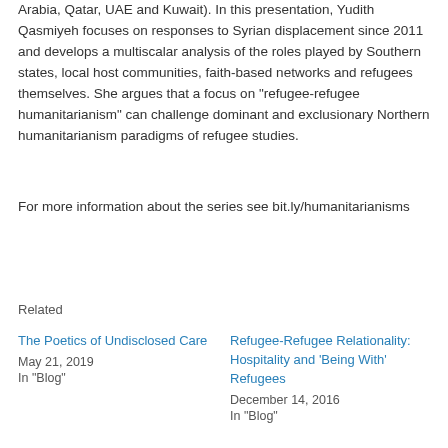Arabia, Qatar, UAE and Kuwait). In this presentation, Yudith Qasmiyeh focuses on responses to Syrian displacement since 2011 and develops a multiscalar analysis of the roles played by Southern states, local host communities, faith-based networks and refugees themselves. She argues that a focus on "refugee-refugee humanitarianism" can challenge dominant and exclusionary Northern humanitarianism paradigms of refugee studies.
For more information about the series see bit.ly/humanitarianisms
Related
The Poetics of Undisclosed Care
May 21, 2019
In "Blog"
Refugee-Refugee Relationality: Hospitality and 'Being With' Refugees
December 14, 2016
In "Blog"